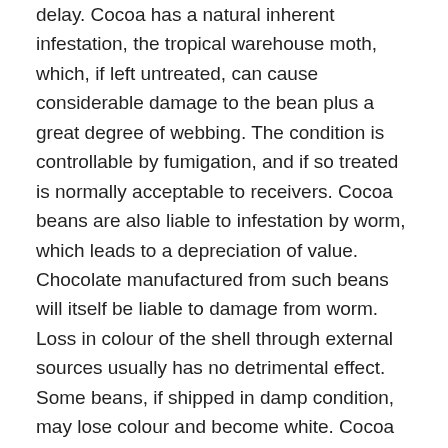delay. Cocoa has a natural inherent infestation, the tropical warehouse moth, which, if left untreated, can cause considerable damage to the bean plus a great degree of webbing. The condition is controllable by fumigation, and if so treated is normally acceptable to receivers. Cocoa beans are also liable to infestation by worm, which leads to a depreciation of value. Chocolate manufactured from such beans will itself be liable to damage from worm. Loss in colour of the shell through external sources usually has no detrimental effect. Some beans, if shipped in damp condition, may lose colour and become white. Cocoa beans in freight containers have shown damage by way of mould and/or discolouration of the beans. In many instances the condition of the bags giving no indication of the damage to the beans. The use of plastic material inside freight containers has led to considerable sweating and subsequent damage. Containers should be stripped immediately on arrival. Containers should offer good ventilation capability. In certain circumstances, where